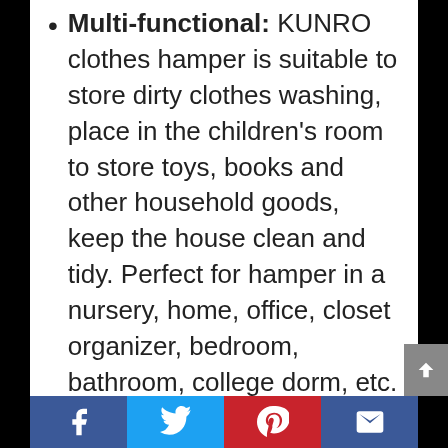Multi-functional: KUNRO clothes hamper is suitable to store dirty clothes washing, place in the children's room to store toys, books and other household goods, keep the house clean and tidy. Perfect for hamper in a nursery, home, office, closet organizer, bedroom, bathroom, college dorm, etc.
IMPORTANT NOTE: The laundry hamper comes with compression packing which may result in crumpled in long-distance transit. It will recover after a period of time